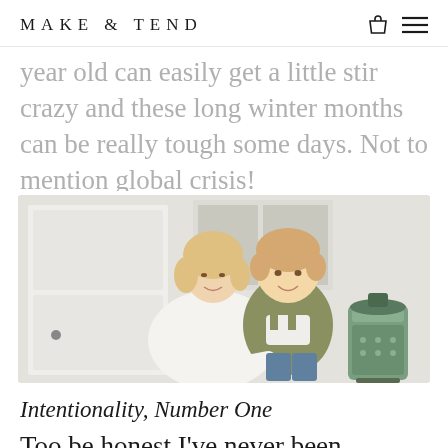MAKE & TEND
year old can easily get a little stir crazy and these long winter months can be really tough some days. Not to mention global crisis!
[Figure (photo): A blonde woman sitting and smiling, holding a young toddler boy who is wearing olive green overalls. They are in a white kitchen setting with a vintage mint green kerosene heater beside them.]
Intentionality, Number One
Too be honest I've never been